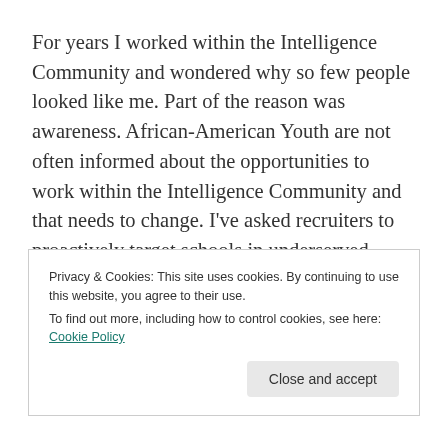For years I worked within the Intelligence Community and wondered why so few people looked like me. Part of the reason was awareness. African-American Youth are not often informed about the opportunities to work within the Intelligence Community and that needs to change. I've asked recruiters to proactively target schools in underserved communities and HBCUs to recruit and hire students of color. There's many scholarships, internships, fellowships and careers in the Intelligence Community to include HR, Accounting/Budget, Law, Medical, and Cyber/IT. Let's
Privacy & Cookies: This site uses cookies. By continuing to use this website, you agree to their use.
To find out more, including how to control cookies, see here: Cookie Policy